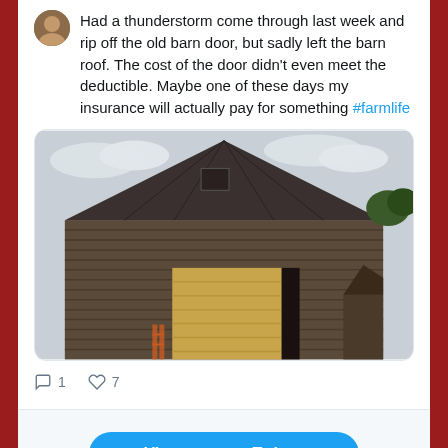Had a thunderstorm come through last week and rip off the old barn door, but sadly left the barn roof. The cost of the door didn't even meet the deductible. Maybe one of these days my insurance will actually pay for something #farmlife
[Figure (photo): Photograph of an old weathered wooden barn with a peaked roof. A new wooden panel/door has been installed in the lower center opening of the barn, contrasting with the aged dark grey siding.]
1 (comments) 7 (likes)
View more on Twitter
Learn more about privacy on Twitter